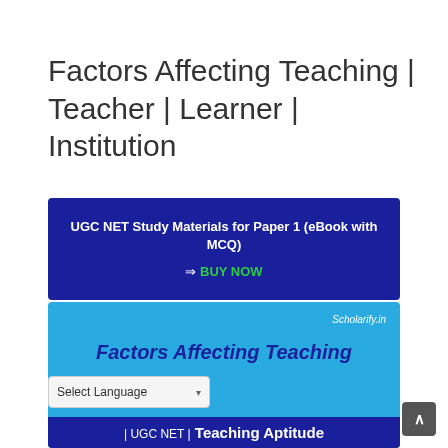Factors Affecting Teaching | Teacher | Learner | Institution
[Figure (infographic): Dark blue banner advertising UGC NET Study Materials for Paper 1 (eBook with MCQ) with a BUY NOW call-to-action in green text]
[Figure (infographic): Light blue image banner with Scholarify.in branding, title 'Factors Affecting Teaching' in dark blue italic text, and bottom bar reading 'UGC NET | Teaching Aptitude' on dark blue background]
Select Language